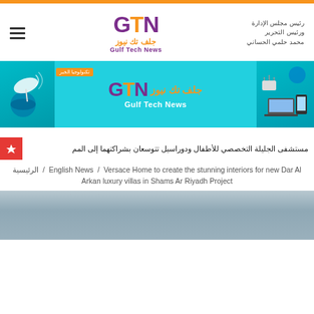GTN Gulf Tech News — رئيس مجلس الإدارة ورئيس التحرير محمد حلمي الحساني
[Figure (logo): GTN Gulf Tech News banner advertisement with cyan background, satellite dish on left, tech devices on right]
مستشفى الجليلة التخصصي للأطفال ودوراسيل تتوسعان بشراكتهما إلى المم
الرئيسية / English News / Versace Home to create the stunning interiors for new Dar Al Arkan luxury villas in Shams Ar Riyadh Project
[Figure (photo): Article header image showing a building exterior with sky background]